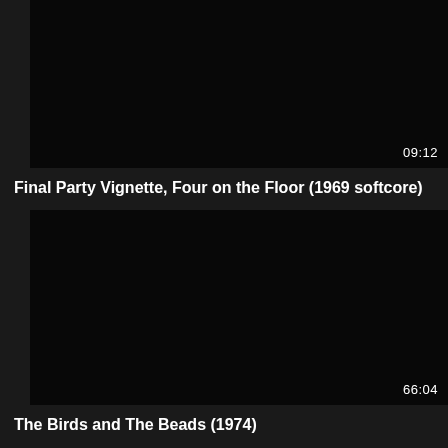[Figure (screenshot): Black video thumbnail with timestamp 09:12 in bottom right corner]
Final Party Vignette, Four on the Floor (1969 softcore)
[Figure (screenshot): Black video thumbnail with timestamp 66:04 in bottom right corner]
The Birds and The Beads (1974)